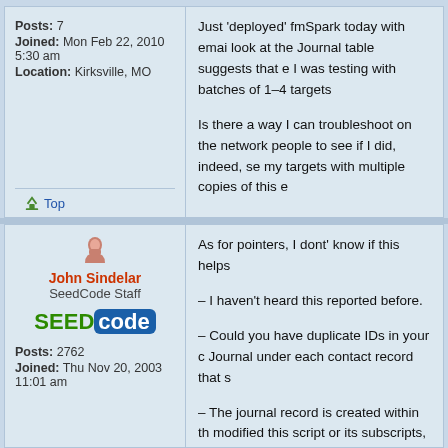Posts: 7
Joined: Mon Feb 22, 2010 5:30 am
Location: Kirksville, MO
Just 'deployed' fmSpark today with emai look at the Journal table suggests that e I was testing with batches of 1-4 targets

Is there a way I can troubleshoot on the network people to see if I did, indeed, se my targets with multiple copies of this e

Thanks for whatever pointers people ca
Top
John Sindelar
SeedCode Staff
[Figure (logo): SeedCode logo with green SEED text and blue rounded rectangle with white 'code' text]
Posts: 2762
Joined: Thu Nov 20, 2003 11:01 am
As for pointers, I dont' know if this helps

- I haven't heard this reported before.

- Could you have duplicate IDs in your c Journal under each contact record that s

- The journal record is created within th modified this script or its subscripts, you

Let us know what you find.